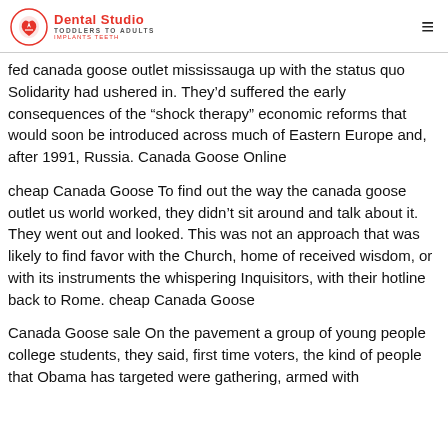Dental Studio | TODDLERS TO ADULTS | IMPLANTS TEETH
fed canada goose outlet mississauga up with the status quo Solidarity had ushered in. They’d suffered the early consequences of the “shock therapy” economic reforms that would soon be introduced across much of Eastern Europe and, after 1991, Russia. Canada Goose Online
cheap Canada Goose To find out the way the canada goose outlet us world worked, they didn’t sit around and talk about it. They went out and looked. This was not an approach that was likely to find favor with the Church, home of received wisdom, or with its instruments the whispering Inquisitors, with their hotline back to Rome. cheap Canada Goose
Canada Goose sale On the pavement a group of young people college students, they said, first time voters, the kind of people that Obama has targeted were gathering, armed with